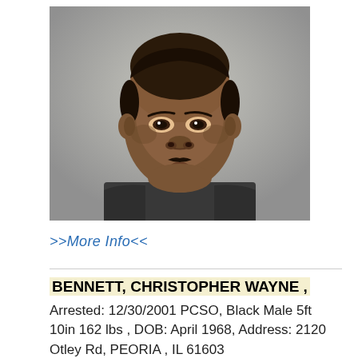[Figure (photo): Mugshot/booking photo of a Black male with short hair and a thin mustache, wearing a dark jacket, against a grey background.]
>>More Info<<
BENNETT, CHRISTOPHER WAYNE , Arrested: 12/30/2001 PCSO, Black Male 5ft 10in 162 lbs , DOB: April 1968, Address: 2120 Otley Rd, PEORIA , IL 61603